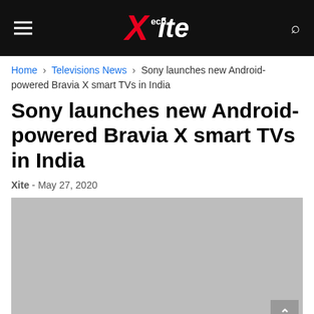Xite Tech
Home › Televisions News › Sony launches new Android-powered Bravia X smart TVs in India
Sony launches new Android-powered Bravia X smart TVs in India
Xite - May 27, 2020
[Figure (photo): Gray placeholder image for article photo]